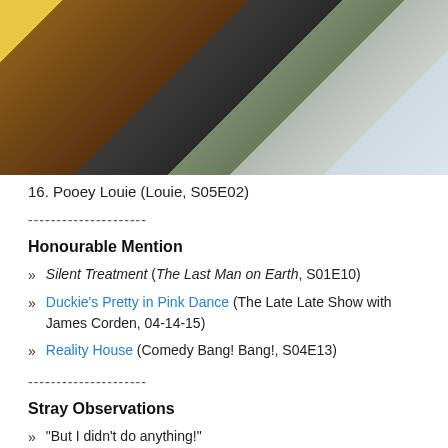[Figure (photo): Photo of a bearded man wearing a brown sherpa jacket and plaid scarf, outdoors in a winter setting with children and a yellow object visible in the background.]
16. Pooey Louie (Louie, S05E02)
---------------------
Honourable Mention
Silent Treatment (The Last Man on Earth, S01E10)
Duckie's Pretty in Pink Dance (The Late Late Show with James Corden, 04-14-15)
Reality House (Comedy Bang! Bang!, S04E13)
---------------------
Stray Observations
"But I didn't do anything!"